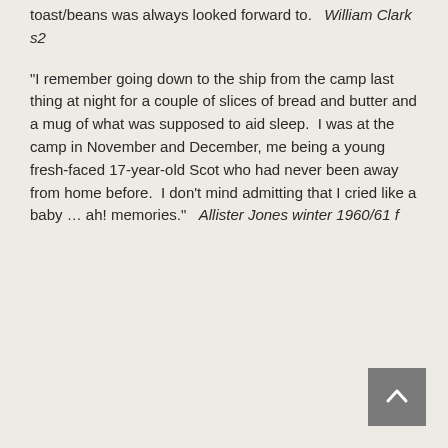toast/beans was always looked forward to.   William Clark s2
“I remember going down to the ship from the camp last thing at night for a couple of slices of bread and butter and a mug of what was supposed to aid sleep.  I was at the camp in November and December, me being a young fresh-faced 17-year-old Scot who had never been away from home before.  I don’t mind admitting that I cried like a baby … ah! memories.”   Allister Jones winter 1960/61 f
[Figure (other): Back to top button - dark grey square with upward pointing chevron/arrow icon]